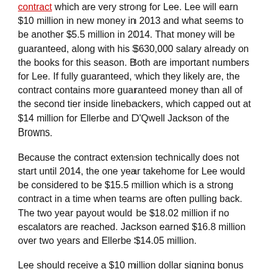contract which are very strong for Lee. Lee will earn $10 million in new money in 2013 and what seems to be another $5.5 million in 2014. That money will be guaranteed, along with his $630,000 salary already on the books for this season. Both are important numbers for Lee. If fully guaranteed, which they likely are, the contract contains more guaranteed money than all of the second tier inside linebackers, which capped out at $14 million for Ellerbe and D'Qwell Jackson of the Browns.
Because the contract extension technically does not start until 2014, the one year takehome for Lee would be considered to be $15.5 million which is a strong contract in a time when teams are often pulling back. The two year payout would be $18.02 million if no escalators are reached. Jackson earned $16.8 million over two years and Ellerbe $14.05 million.
Lee should receive a $10 million dollar signing bonus which would make his cap charge in 2013 rise by only $2 million. His new salary cap figure should be (though this is not confirmed) $2.93 million in 2013. Dallas had about $8 million in cap room prior to the extension so a $2 million dollar raise should not impact the Cowboys decision making in 2013 in regards to the